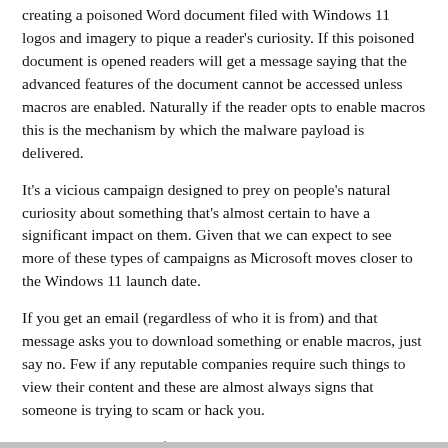creating a poisoned Word document filed with Windows 11 logos and imagery to pique a reader's curiosity. If this poisoned document is opened readers will get a message saying that the advanced features of the document cannot be accessed unless macros are enabled. Naturally if the reader opts to enable macros this is the mechanism by which the malware payload is delivered.
It's a vicious campaign designed to prey on people's natural curiosity about something that's almost certain to have a significant impact on them. Given that we can expect to see more of these types of campaigns as Microsoft moves closer to the Windows 11 launch date.
If you get an email (regardless of who it is from) and that message asks you to download something or enable macros, just say no. Few if any reputable companies require such things to view their content and these are almost always signs that someone is trying to scam or hack you.
Used with permission from Article Aggregator